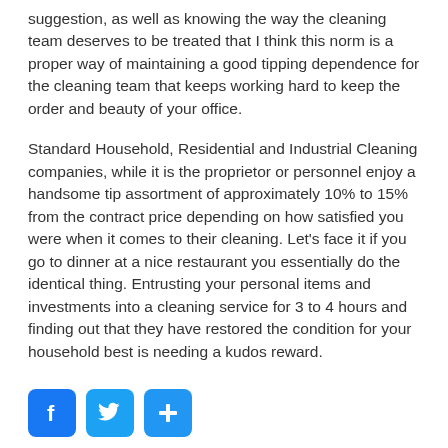suggestion, as well as knowing the way the cleaning team deserves to be treated that I think this norm is a proper way of maintaining a good tipping dependence for the cleaning team that keeps working hard to keep the order and beauty of your office.
Standard Household, Residential and Industrial Cleaning companies, while it is the proprietor or personnel enjoy a handsome tip assortment of approximately 10% to 15% from the contract price depending on how satisfied you were when it comes to their cleaning. Let's face it if you go to dinner at a nice restaurant you essentially do the identical thing. Entrusting your personal items and investments into a cleaning service for 3 to 4 hours and finding out that they have restored the condition for your household best is needing a kudos reward.
[Figure (other): Three social media sharing buttons: Facebook (blue with f logo), Twitter (light blue with bird logo), and a blue plus/share button.]